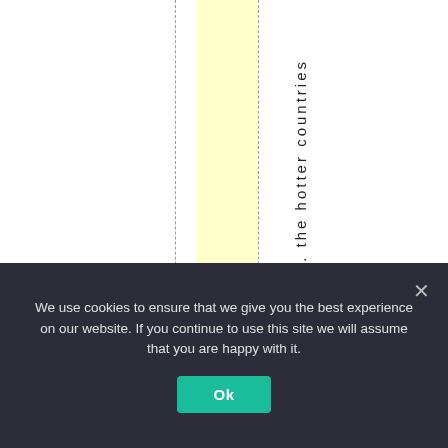[Figure (other): Partial view of a table or chart with a yellow highlighted column, two dashed vertical lines, and rotated text reading 'the hotter countries' along the right side. White background.]
We use cookies to ensure that we give you the best experience on our website. If you continue to use this site we will assume that you are happy with it.